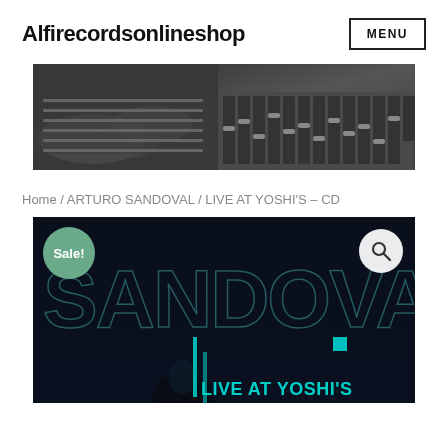Alfirecordsonlineshop
MENU
[Figure (photo): Black and white photo of hands playing on a large recording studio mixing console]
Home / ARTURO SANDOVAL / LIVE AT YOSHI'S – CD
[Figure (photo): Dark promotional album cover image showing 'SANDOVAL LIVE AT YOSHI'S' text in teal/blue, with a Sale! badge in green circle top left and a magnifying glass search icon top right]